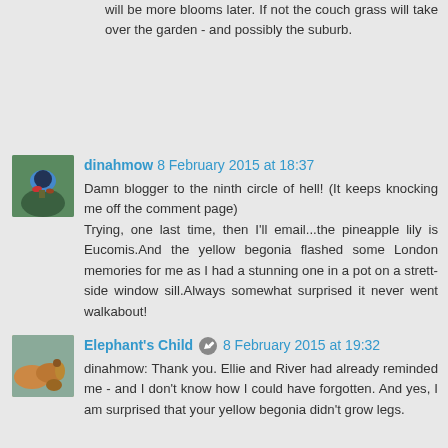will be more blooms later. If not the couch grass will take over the garden - and possibly the suburb.
dinahmow 8 February 2015 at 18:37
Damn blogger to the ninth circle of hell! (It keeps knocking me off the comment page)
Trying, one last time, then I'll email...the pineapple lily is Eucomis.And the yellow begonia flashed some London memories for me as I had a stunning one in a pot on a strett-side window sill.Always somewhat surprised it never went walkabout!
Elephant's Child 8 February 2015 at 19:32
dinahmow: Thank you. Ellie and River had already reminded me - and I don't know how I could have forgotten. And yes, I am surprised that your yellow begonia didn't grow legs.